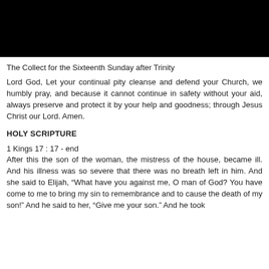[Figure (photo): Black rectangular image at top of page]
The Collect for the Sixteenth Sunday after Trinity
Lord God, Let your continual pity cleanse and defend your Church, we humbly pray, and because it cannot continue in safety without your aid, always preserve and protect it by your help and goodness; through Jesus Christ our Lord. Amen.
HOLY SCRIPTURE
1 Kings 17 : 17 - end
After this the son of the woman, the mistress of the house, became ill. And his illness was so severe that there was no breath left in him. And she said to Elijah, “What have you against me, O man of God? You have come to me to bring my sin to remembrance and to cause the death of my son!” And he said to her, “Give me your son.” And he took